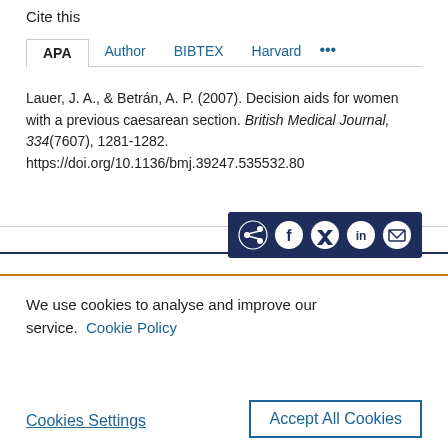Cite this
APA  Author  BIBTEX  Harvard  ...
Lauer, J. A., & Betrán, A. P. (2007). Decision aids for women with a previous caesarean section. British Medical Journal, 334(7607), 1281-1282. https://doi.org/10.1136/bmj.39247.535532.80
[Figure (infographic): Social sharing icon bar with share, Facebook, Twitter, LinkedIn, and email icons on dark navy background]
We use cookies to analyse and improve our service. Cookie Policy
Cookies Settings
Accept All Cookies